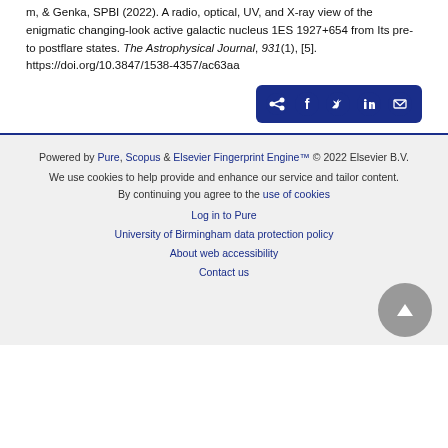m, & Genka, SPBI (2022). A radio, optical, UV, and X-ray view of the enigmatic changing-look active galactic nucleus 1ES 1927+654 from Its pre- to postflare states. The Astrophysical Journal, 931(1), [5]. https://doi.org/10.3847/1538-4357/ac63aa
[Figure (other): Share buttons row: share icon, Facebook, Twitter, LinkedIn, email icons on dark blue background]
Powered by Pure, Scopus & Elsevier Fingerprint Engine™ © 2022 Elsevier B.V.
We use cookies to help provide and enhance our service and tailor content. By continuing you agree to the use of cookies
Log in to Pure
University of Birmingham data protection policy
About web accessibility
Contact us